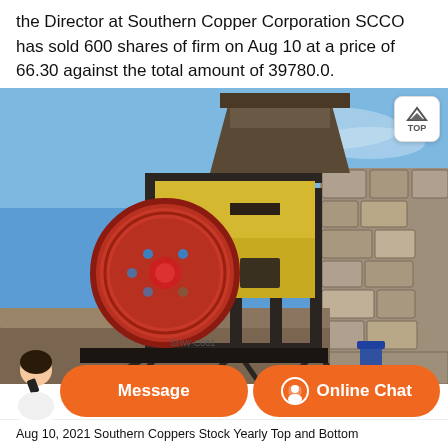the Director at Southern Copper Corporation SCCO has sold 600 shares of firm on Aug 10 at a price of 66.30 against the total amount of 39780.0.
[Figure (photo): Photo of industrial mining jaw crusher equipment with a large red flywheel, yellow body, and steel frame structure, outdoors against a blue sky with rock/stone wall in background.]
Aug 10, 2021 Southern Coppers Stock Yearly Top and Bottom